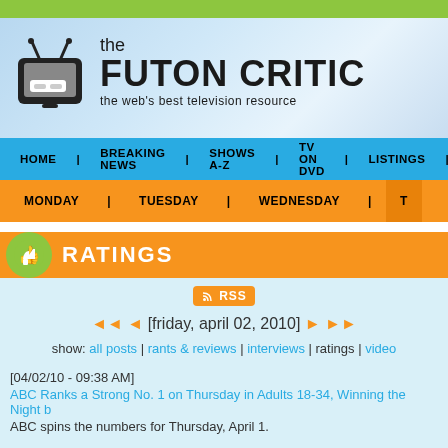[Figure (logo): The Futon Critic website header with TV icon logo and site name]
HOME | BREAKING NEWS | SHOWS A-Z | TV ON DVD | LISTINGS
MONDAY | TUESDAY | WEDNESDAY | T...
RATINGS
RSS
[friday, april 02, 2010]
show: all posts | rants & reviews | interviews | ratings | video
[04/02/10 - 09:38 AM]
ABC Ranks a Strong No. 1 on Thursday in Adults 18-34, Winning the Night b...
ABC spins the numbers for Thursday, April 1.
[04/01/10 - 01:22 PM]
'The Tonight Show with Jay Leno' and 'Late Night with Jimmy Fallon' Deliver Late-Night Wins
NBC spins the late-night numbers for the week of March 22-26.